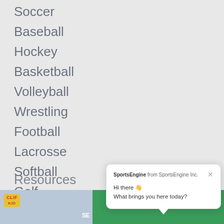Soccer
Baseball
Hockey
Basketball
Volleyball
Wrestling
Football
Lacrosse
Softball
Golf
Tennis
Resources
[Figure (screenshot): Chat widget popup from SportsEngine Inc. with text 'Hi there 👋 What brings you here today?' and a close button.]
[Figure (photo): Advertisement banner showing CLIF Kid product with a child athlete and SportsEngine branding on green background.]